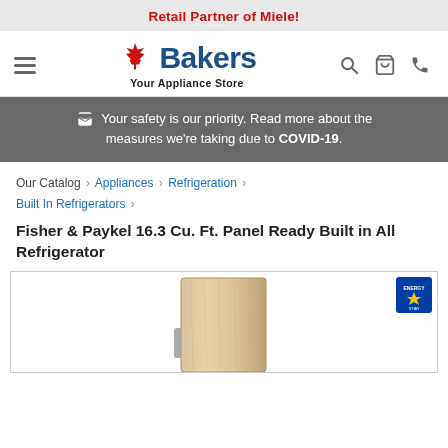Retail Partner of Miele!
[Figure (logo): Bakers Your Appliance Store logo with Canadian maple leaf]
Your safety is our priority. Read more about the measures we're taking due to COVID-19.
Our Catalog › Appliances › Refrigeration › Built In Refrigerators ›
Fisher & Paykel 16.3 Cu. Ft. Panel Ready Built in All Refrigerator
[Figure (photo): Fisher & Paykel panel ready built-in all refrigerator with wood panel finish, shown with Energy Star badge in top right corner]